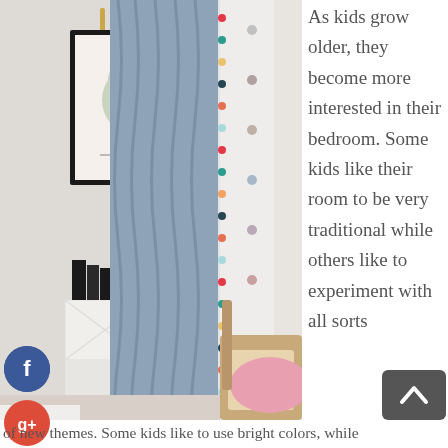[Figure (photo): A children's bedroom with blue-gray curtains featuring colorful pom-pom trim, a white dresser, a framed animal print on the wall, books, and a wooden chair with pink cushion]
As kids grow older, they become more interested in their bedroom. Some kids like their room to be very traditional while others like to experiment with all sorts
of new themes. Some kids like to use bright colors, while